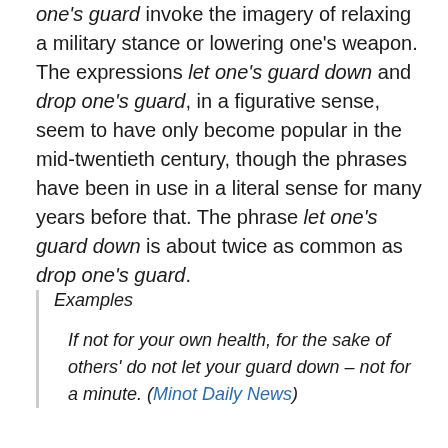one's guard invoke the imagery of relaxing a military stance or lowering one's weapon. The expressions let one's guard down and drop one's guard, in a figurative sense, seem to have only become popular in the mid-twentieth century, though the phrases have been in use in a literal sense for many years before that. The phrase let one's guard down is about twice as common as drop one's guard.
Examples
If not for your own health, for the sake of others' do not let your guard down – not for a minute. (Minot Daily News)